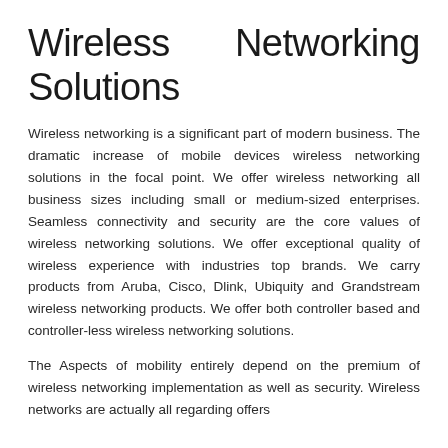Wireless Networking Solutions
Wireless networking is a significant part of modern business. The dramatic increase of mobile devices wireless networking solutions in the focal point. We offer wireless networking all business sizes including small or medium-sized enterprises. Seamless connectivity and security are the core values of wireless networking solutions. We offer exceptional quality of wireless experience with industries top brands. We carry products from Aruba, Cisco, Dlink, Ubiquity and Grandstream wireless networking products. We offer both controller based and controller-less wireless networking solutions.
The Aspects of mobility entirely depend on the premium of wireless networking implementation as well as security. Wireless networks are actually all regarding offers